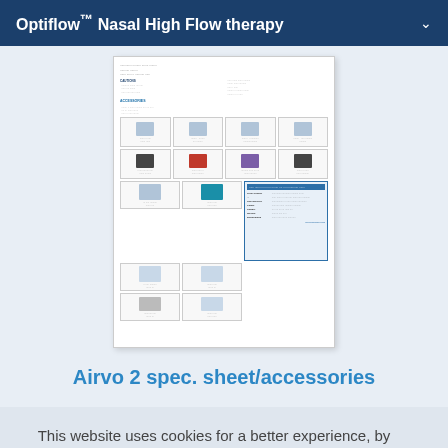Optiflow™ Nasal High Flow therapy
[Figure (other): Thumbnail of an Airvo 2 spec sheet showing accessories including nasal cannulas, tubing, heater plates, adaptors, and a specification table. The document contains a grid of product images and a blue-highlighted specification table on the right side.]
Airvo 2 spec. sheet/accessories
This website uses cookies for a better experience, by interacting with this site you consent to the use of these tools. Click here to find out more.